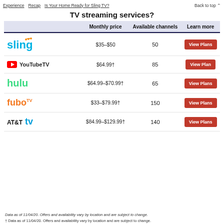Experience  Recap  Is Your Home Ready for Sling TV?  Back to top
TV streaming services?
|  | Monthly price | Available channels | Learn more |
| --- | --- | --- | --- |
| Sling | $35–$50 | 50 | View Plans |
| YouTube TV | $64.99† | 85 | View Plan |
| hulu | $64.99–$70.99† | 65 | View Plans |
| fuboTV | $33–$79.99† | 150 | View Plans |
| AT&T tv | $84.99–$129.99† | 140 | View Plans |
Data as of 11/04/20. Offers and availability vary by location and are subject to change.
† Data as of 11/04/20. Offers and availability vary by location and are subject to change.